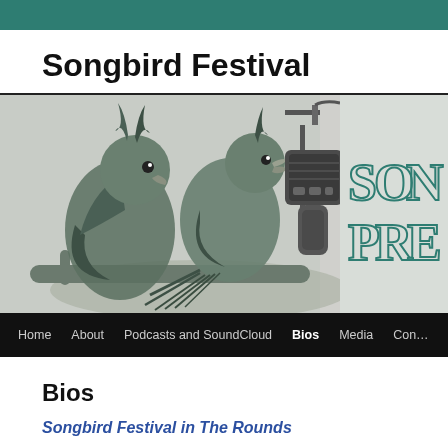Songbird Festival
[Figure (illustration): Black and white illustration of two cockatiels perched near a vintage microphone, with teal-toned decorative text reading 'SON PRE' (partially visible) on the right side of the image]
Home  About  Podcasts and SoundCloud  Bios  Media  Con…
Bios
Songbird Festival in The Rounds